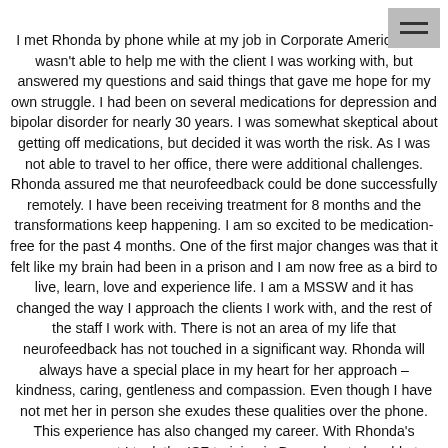I met Rhonda by phone while at my job in Corporate America. She wasn't able to help me with the client I was working with, but answered my questions and said things that gave me hope for my own struggle. I had been on several medications for depression and bipolar disorder for nearly 30 years. I was somewhat skeptical about getting off medications, but decided it was worth the risk. As I was not able to travel to her office, there were additional challenges. Rhonda assured me that neurofeedback could be done successfully remotely. I have been receiving treatment for 8 months and the transformations keep happening. I am so excited to be medication-free for the past 4 months. One of the first major changes was that it felt like my brain had been in a prison and I am now free as a bird to live, learn, love and experience life. I am a MSSW and it has changed the way I approach the clients I work with, and the rest of the staff I work with. There is not an area of my life that neurofeedback has not touched in a significant way. Rhonda will always have a special place in my heart for her approach – kindness, caring, gentleness and compassion. Even though I have not met her in person she exudes these qualities over the phone. This experience has also changed my career. With Rhonda's encouragement I took the ISF training in December to be able to provide this treatment modality to others. I will soon be leaving the corporate